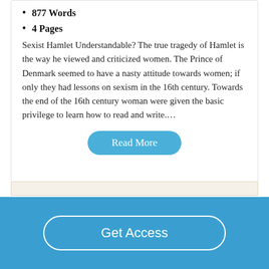877 Words
4 Pages
Sexist Hamlet Understandable? The true tragedy of Hamlet is the way he viewed and criticized women. The Prince of Denmark seemed to have a nasty attitude towards women; if only they had lessons on sexism in the 16th century. Towards the end of the 16th century woman were given the basic privilege to learn how to read and write....
Read More
Get Access